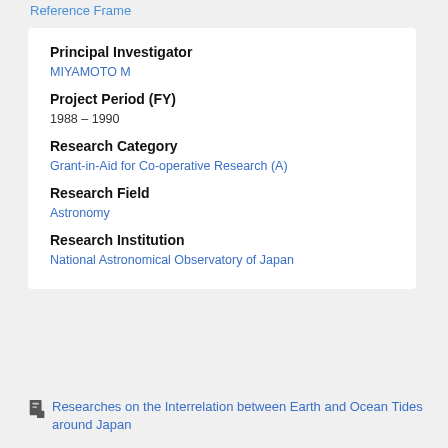Reference Frame
Principal Investigator
MIYAMOTO M
Project Period (FY)
1988 – 1990
Research Category
Grant-in-Aid for Co-operative Research (A)
Research Field
Astronomy
Research Institution
National Astronomical Observatory of Japan
Researches on the Interrelation between Earth and Ocean Tides around Japan